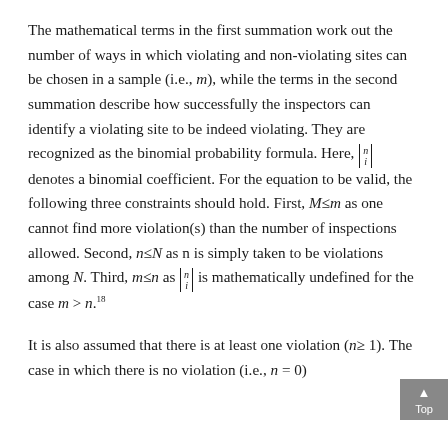The mathematical terms in the first summation work out the number of ways in which violating and non-violating sites can be chosen in a sample (i.e., m), while the terms in the second summation describe how successfully the inspectors can identify a violating site to be indeed violating. They are recognized as the binomial probability formula. Here, (n choose i) denotes a binomial coefficient. For the equation to be valid, the following three constraints should hold. First, M≤m as one cannot find more violation(s) than the number of inspections allowed. Second, n≤N as n is simply taken to be violations among N. Third, m≤n as (n choose i) is mathematically undefined for the case m > n.^18
It is also assumed that there is at least one violation (n≥1). The case in which there is no violation (i.e., n = 0)